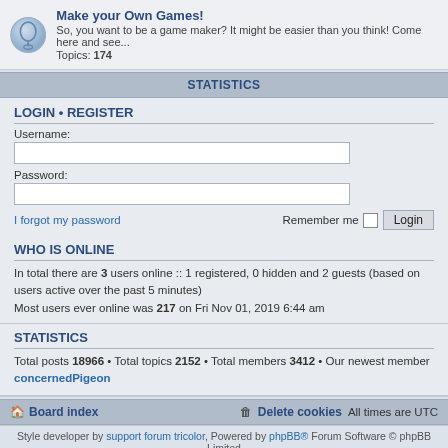[Figure (illustration): Forum icon showing a game controller/bell shape in light blue circle]
Make your Own Games!
So, you want to be a game maker? It might be easier than you think! Come here and see...
Topics: 174
STATISTICS
LOGIN • REGISTER
Username:
Password:
I forgot my password
Remember me
WHO IS ONLINE
In total there are 3 users online :: 1 registered, 0 hidden and 2 guests (based on users active over the past 5 minutes)
Most users ever online was 217 on Fri Nov 01, 2019 6:44 am
STATISTICS
Total posts 18966 • Total topics 2152 • Total members 3412 • Our newest member concernedPigeon
Board index   Delete cookies   All times are UTC
Style developer by support forum tricolor, Powered by phpBB® Forum Software © phpBB Limited